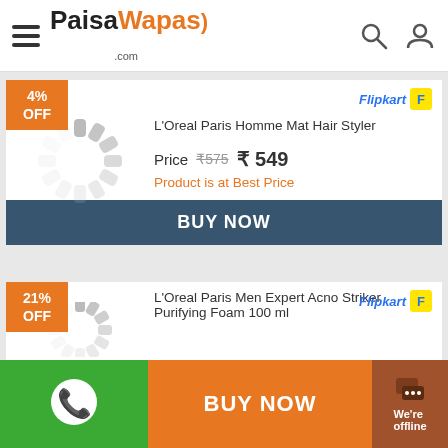[Figure (logo): PaisaWapas.com website header with hamburger menu, logo, search and user icons]
[Figure (infographic): Product card: L'Oreal Paris Homme Mat Hair Styler, 4% OFF badge, loading spinner image placeholder, Flipkart logo, Price ₹575 ₹549, Product is at Best Price, BUY NOW button]
[Figure (infographic): Product card: L'Oreal Paris Men Expert Acno Striker Purifying Foam 100 ml, 21% OFF badge, loading spinner image placeholder, Flipkart logo]
[Figure (screenshot): Footer bar with WhatsApp icon (green), BUY NOW (orange), We're offline chat widget (brown)]